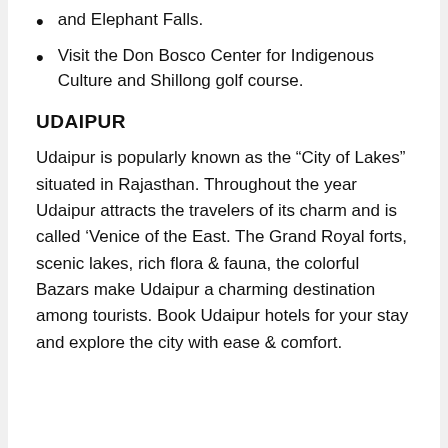and Elephant Falls.
Visit the Don Bosco Center for Indigenous Culture and Shillong golf course.
UDAIPUR
Udaipur is popularly known as the “City of Lakes” situated in Rajasthan. Throughout the year Udaipur attracts the travelers of its charm and is called ‘Venice of the East. The Grand Royal forts, scenic lakes, rich flora & fauna, the colorful Bazars make Udaipur a charming destination among tourists. Book Udaipur hotels for your stay and explore the city with ease & comfort.